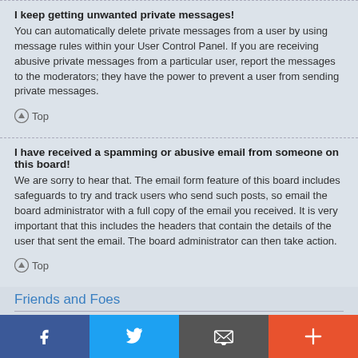I keep getting unwanted private messages!
You can automatically delete private messages from a user by using message rules within your User Control Panel. If you are receiving abusive private messages from a particular user, report the messages to the moderators; they have the power to prevent a user from sending private messages.
Top
I have received a spamming or abusive email from someone on this board!
We are sorry to hear that. The email form feature of this board includes safeguards to try and track users who send such posts, so email the board administrator with a full copy of the email you received. It is very important that this includes the headers that contain the details of the user that sent the email. The board administrator can then take action.
Top
Friends and Foes
What are my Friends and Foes lists?
You can use these lists to organise other members of the board. Members added to your friends list will be listed within your User Control Panel for quick